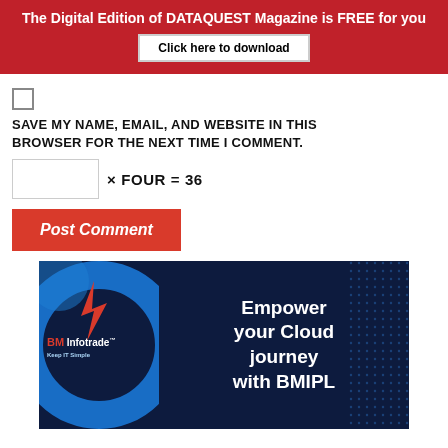The Digital Edition of DATAQUEST Magazine is FREE for you
Click here to download
SAVE MY NAME, EMAIL, AND WEBSITE IN THIS BROWSER FOR THE NEXT TIME I COMMENT.
Post Comment
[Figure (illustration): BM Infotrade advertisement banner with dark navy background, blue circular design, BM Infotrade logo in red, and text: Empower your Cloud journey with BMIPL]